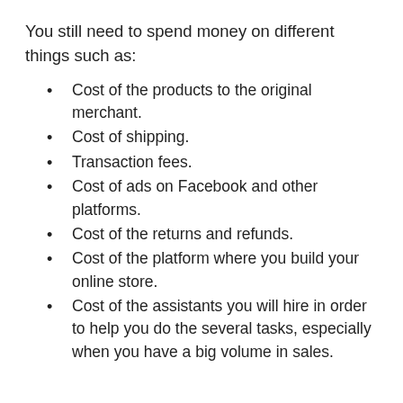You still need to spend money on different things such as:
Cost of the products to the original merchant.
Cost of shipping.
Transaction fees.
Cost of ads on Facebook and other platforms.
Cost of the returns and refunds.
Cost of the platform where you build your online store.
Cost of the assistants you will hire in order to help you do the several tasks, especially when you have a big volume in sales.